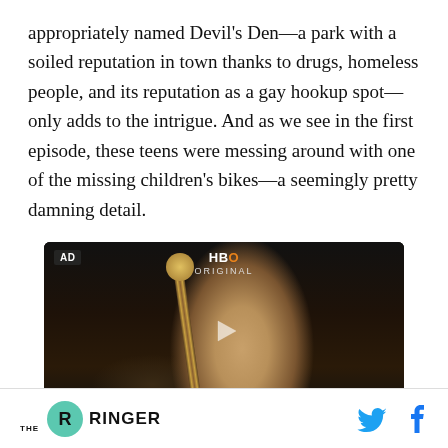appropriately named Devil's Den—a park with a soiled reputation in town thanks to drugs, homeless people, and its reputation as a gay hookup spot—only adds to the intrigue. And as we see in the first episode, these teens were messing around with one of the missing children's bikes—a seemingly pretty damning detail.
[Figure (screenshot): Video player showing an HBO Original advertisement. Dark scene featuring a figure holding a decorative staff/scepter. Shows AD badge in top left, HBO ORIGINAL logo at top center, and a play button in the center.]
THE RINGER [with Twitter and Facebook icons]